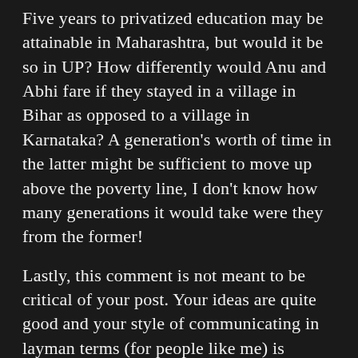Five years to privatized education may be attainable in Maharashtra, but would it be so in UP? How differently would Anu and Abhi fare if they stayed in a village in Bihar as opposed to a village in Karnataka? A generation's worth of time in the latter might be sufficient to move up above the poverty line, I don't know how many generations it would take were they from the former!
Lastly, this comment is not meant to be critical of your post. Your ideas are quite good and your style of communicating in layman terms (for people like me) is impressive, but I see this unaddressed area… an area I can think of no solution to in the first place.